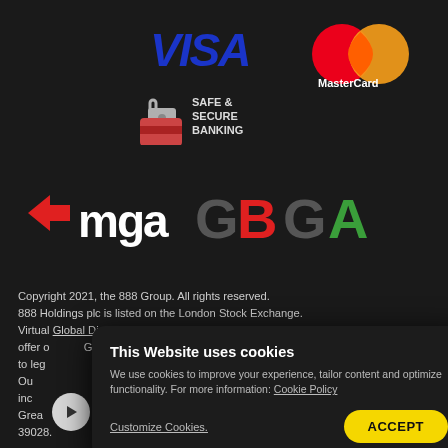[Figure (logo): VISA logo in blue italic bold text]
[Figure (logo): MasterCard logo - red and orange overlapping circles with MasterCard text]
[Figure (logo): Safe & Secure Banking badge with padlock icon]
[Figure (logo): MGA logo with arrow and mga text]
[Figure (logo): GBGA logo in multicolor letters]
Copyright 2021, the 888 Group. All rights reserved.
888 Holdings plc is listed on the London Stock Exchange.
Virtual Global Digital Services Limited is licensed and regulated to offer online gaming services under the Malta Gaming
Authority (MGA/CRP/543/2018 issued on the 11/10/2019) and its operation as
to legal UK residents is licensed and regulated by the UK Gambling Commission
Our services in European Single Market member states (except for
income in Great Britain) are operated by Virtual Digital Services Limited registered in
Great Britain (company number 7991210, registered address Level 2, Exchange
39028.
This Website uses cookies
We use cookies to improve your experience, tailor content and optimize functionality. For more information: Cookie Policy
Customize Cookies.
ACCEPT